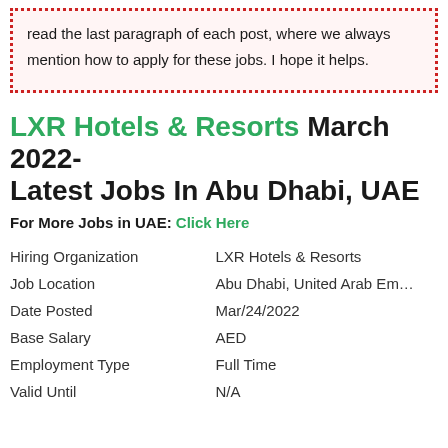read the last paragraph of each post, where we always mention how to apply for these jobs. I hope it helps.
LXR Hotels & Resorts March 2022- Latest Jobs In Abu Dhabi, UAE
For More Jobs in UAE: Click Here
|  |  |
| --- | --- |
| Hiring Organization | LXR Hotels & Resorts |
| Job Location | Abu Dhabi, United Arab Emirates |
| Date Posted | Mar/24/2022 |
| Base Salary | AED |
| Employment Type | Full Time |
| Valid Until | N/A |